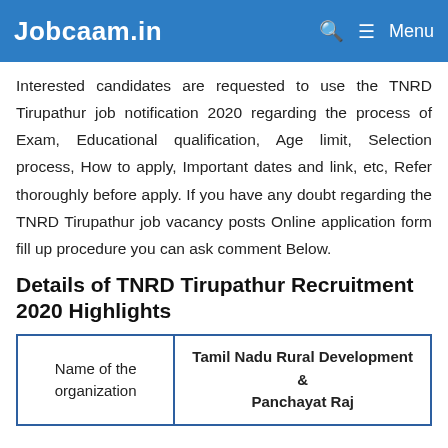Jobcaam.in   🔍  ≡ Menu
Interested candidates are requested to use the TNRD Tirupathur job notification 2020 regarding the process of Exam, Educational qualification, Age limit, Selection process, How to apply, Important dates and link, etc, Refer thoroughly before apply. If you have any doubt regarding the TNRD Tirupathur job vacancy posts Online application form fill up procedure you can ask comment Below.
Details of TNRD Tirupathur Recruitment 2020 Highlights
| Name of the organization | Tamil Nadu Rural Development & Panchayat Raj |
| --- | --- |